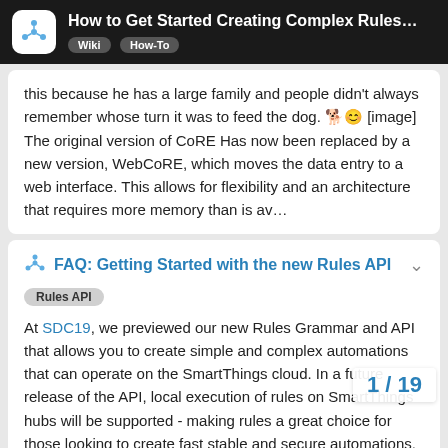How to Get Started Creating Complex Rules... Wiki How-To
this because he has a large family and people didn't always remember whose turn it was to feed the dog. 🐕😊 [image] The original version of CoRE Has now been replaced by a new version, WebCoRE, which moves the data entry to a web interface. This allows for flexibility and an architecture that requires more memory than is av…
FAQ: Getting Started with the new Rules API
Rules API
At SDC19, we previewed our new Rules Grammar and API that allows you to create simple and complex automations that can operate on the SmartThings cloud. In a future release of the API, local execution of rules on SmartThings hubs will be supported - making rules a great choice for those looking to create fast stable and secure automations. We are announce a few resources available for
1 / 19